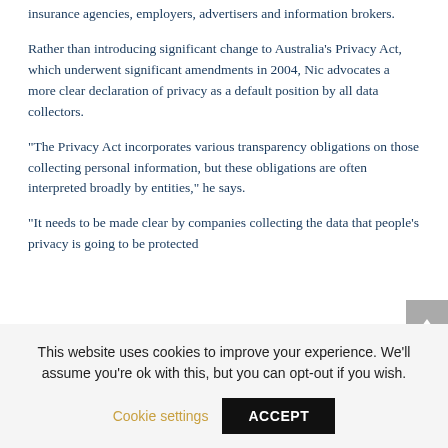insurance agencies, employers, advertisers and information brokers.
Rather than introducing significant change to Australia's Privacy Act, which underwent significant amendments in 2004, Nic advocates a more clear declaration of privacy as a default position by all data collectors.
“The Privacy Act incorporates various transparency obligations on those collecting personal information, but these obligations are often interpreted broadly by entities,” he says.
“It needs to be made clear by companies collecting the data that people’s privacy is going to be protected
This website uses cookies to improve your experience. We’ll assume you’re ok with this, but you can opt-out if you wish.
Cookie settings
ACCEPT